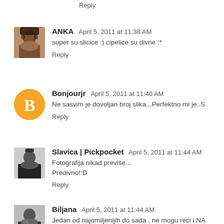Reply
ANKA  April 5, 2011 at 11:38 AM
super su slicice :) cipelice su divne :*
Reply
Bonjourjr  April 5, 2011 at 11:40 AM
Ne sasvim je dovoljan broj slika...Perfektno mi je..S
Reply
Slavica | Pickpocket  April 5, 2011 at 11:44 AM
Fotografija nikad previše... Predivno!:D
Reply
Biljana  April 5, 2011 at 11:44 AM
Jedan od najomiljenijih do sada , ne mogu reći i NA Cipele su odlične , majica super. Bravo!!